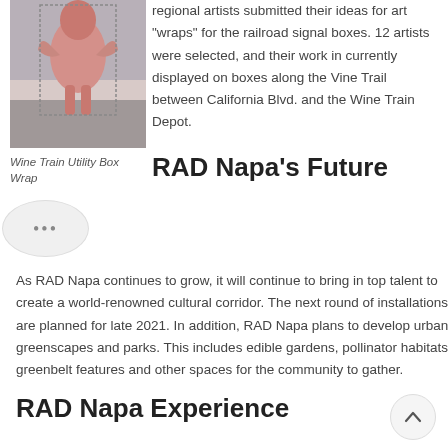[Figure (photo): Photo of a sculptural art piece – a pink/flesh-toned figure used as a Wine Train Utility Box Wrap art installation]
Wine Train Utility Box Wrap
regional artists submitted their ideas for art "wraps" for the railroad signal boxes. 12 artists were selected, and their work in currently displayed on boxes along the Vine Trail between California Blvd. and the Wine Train Depot.
RAD Napa's Future
As RAD Napa continues to grow, it will continue to bring in top talent to create a world-renowned cultural corridor. The next round of installations are planned for late 2021. In addition, RAD Napa plans to develop urban greenscapes and parks. This includes edible gardens, pollinator habitats, greenbelt features and other spaces for the community to gather.
RAD Napa Experience